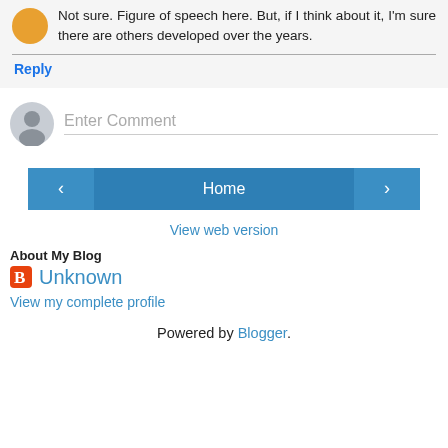Not sure. Figure of speech here. But, if I think about it, I'm sure there are others developed over the years.
Reply
Enter Comment
Home
View web version
About My Blog
Unknown
View my complete profile
Powered by Blogger.